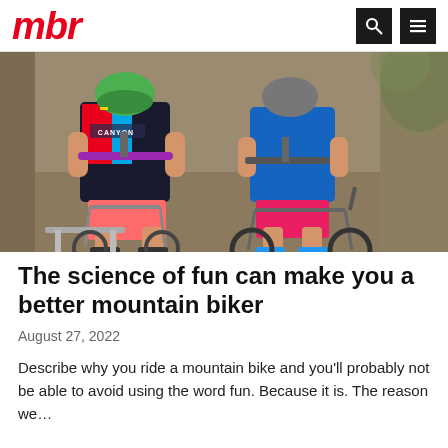mbr
[Figure (photo): Two children on mountain bikes on a dirt trail. The child in front wears a colorful Canyon jersey and holds the handlebars of a small mountain bike with training support wheels. A second child on a blue mountain bike is visible behind.]
The science of fun can make you a better mountain biker
August 27, 2022
Describe why you ride a mountain bike and you'll probably not be able to avoid using the word fun. Because it is. The reason we...